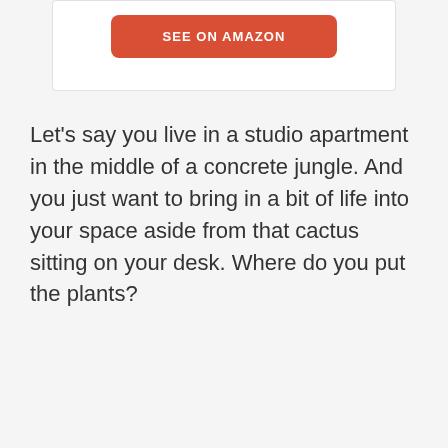[Figure (other): A card/box section with a rounded orange 'SEE ON AMAZON' button centered inside a white card with light border]
Let's say you live in a studio apartment in the middle of a concrete jungle. And you just want to bring in a bit of life into your space aside from that cactus sitting on your desk. Where do you put the plants?